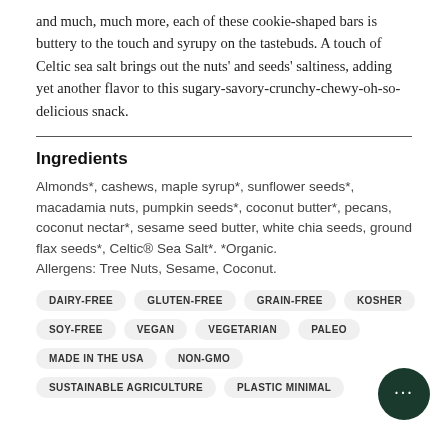and much, much more, each of these cookie-shaped bars is buttery to the touch and syrupy on the tastebuds. A touch of Celtic sea salt brings out the nuts' and seeds' saltiness, adding yet another flavor to this sugary-savory-crunchy-chewy-oh-so-delicious snack.
Ingredients
Almonds*, cashews, maple syrup*, sunflower seeds*, macadamia nuts, pumpkin seeds*, coconut butter*, pecans, coconut nectar*, sesame seed butter, white chia seeds, ground flax seeds*, Celtic® Sea Salt*. *Organic. Allergens: Tree Nuts, Sesame, Coconut.
DAIRY-FREE
GLUTEN-FREE
GRAIN-FREE
KOSHER
SOY-FREE
VEGAN
VEGETARIAN
PALEO
MADE IN THE USA
NON-GMO
SUSTAINABLE AGRICULTURE
PLASTIC MINIMAL